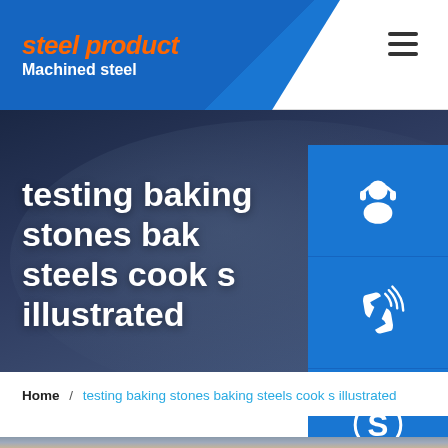steel product | Machined steel
testing baking stones bak steels cook s illustrated
[Figure (infographic): Three blue side buttons with icons: headset/support icon, phone/call icon, and Skype icon]
Home / testing baking stones baking steels cook s illustrated
[Figure (photo): Partial view of steel product photo at bottom of page]